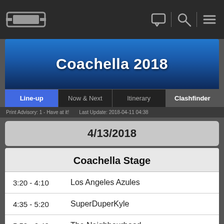Coachella 2018 app navigation bar
Coachella 2018
Line-up | Now & Next | Itinerary | Clashfinder
Print Advisory: 1 - Have at it!   Last Update: 2018-04-11 04:38
4/13/2018
Coachella Stage
3:20 - 4:10   Los Angeles Azules
4:35 - 5:20   SuperDuperKyle
5:50 - 6:40   The Neighbourhood
7:10 - 8:00   Vince Staples
8:30 - 9:25   Kygo